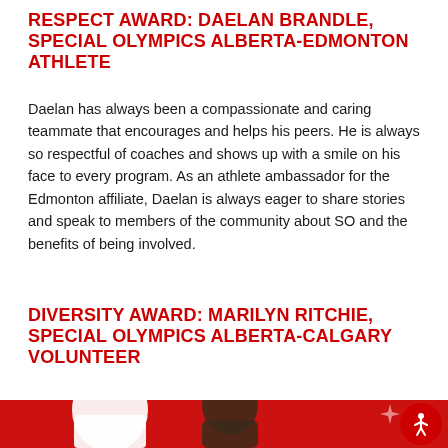RESPECT AWARD: DAELAN BRANDLE, SPECIAL OLYMPICS ALBERTA-EDMONTON ATHLETE
Daelan has always been a compassionate and caring teammate that encourages and helps his peers. He is always so respectful of coaches and shows up with a smile on his face to every program. As an athlete ambassador for the Edmonton affiliate, Daelan is always eager to share stories and speak to members of the community about SO and the benefits of being involved.
DIVERSITY AWARD: MARILYN RITCHIE, SPECIAL OLYMPICS ALBERTA-CALGARY VOLUNTEER
[Figure (photo): Photo of person in Special Olympics Alberta uniform on a red background with decorative sparkle elements, partially cropped at bottom of page. An accessibility icon button (white figure on red circle) appears in the bottom right corner.]